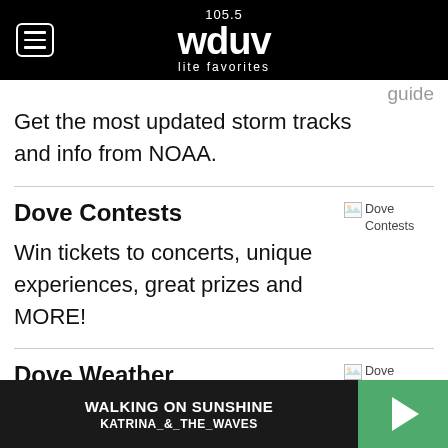105.5 wduv lite favorites
guide
Get the most updated storm tracks and info from NOAA.
Dove Contests
[Figure (illustration): Broken image placeholder labeled 'Dove Contests']
Win tickets to concerts, unique experiences, great prizes and MORE!
Dove Weather
[Figure (illustration): Broken image placeholder labeled 'Dove Weather']
Get weather news that matters, with
WALKING ON SUNSHINE KATRINA_&_THE_WAVES